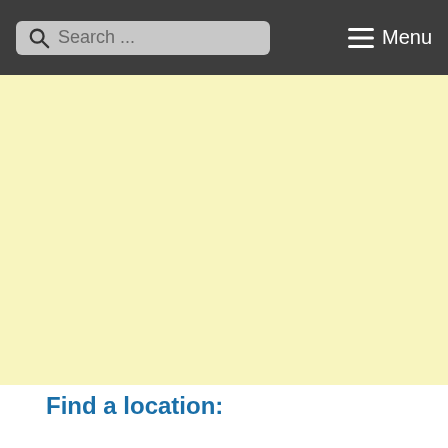Search ... Menu
[Figure (other): Large yellow/cream colored rectangular area, likely an advertisement or map placeholder]
Find a location: